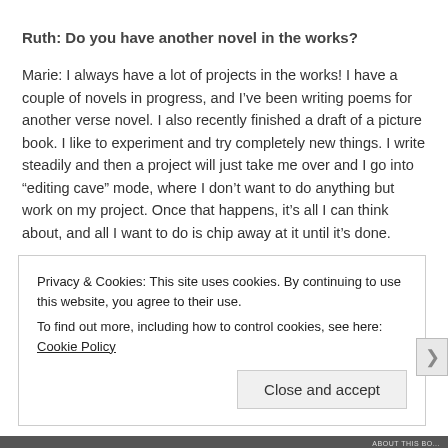Ruth: Do you have another novel in the works?
Marie: I always have a lot of projects in the works! I have a couple of novels in progress, and I’ve been writing poems for another verse novel. I also recently finished a draft of a picture book. I like to experiment and try completely new things. I write steadily and then a project will just take me over and I go into “editing cave” mode, where I don’t want to do anything but work on my project. Once that happens, it’s all I can think about, and all I want to do is chip away at it until it’s done.
Privacy & Cookies: This site uses cookies. By continuing to use this website, you agree to their use.
To find out more, including how to control cookies, see here: Cookie Policy
Close and accept